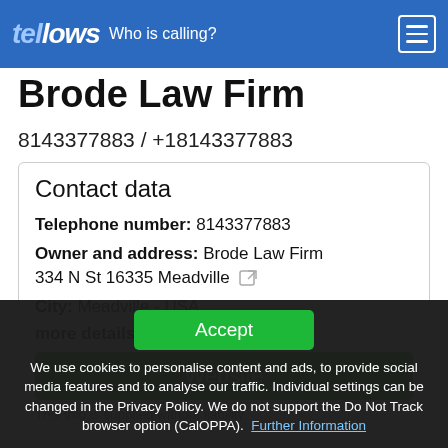tellows — Who is calling?
Brode Law Firm
8143377883 / +18143377883
Contact data
Telephone number: 8143377883
Owner and address: Brode Law Firm 334 N St 16335 Meadville
City: Meadville - USA
more details:
Website
This info is supplied without liability.
Accept
We use cookies to personalise content and ads, to provide social media features and to analyse our traffic. Individual settings can be changed in the Privacy Policy. We do not support the Do Not Track browser option (CalOPPA). Further Information